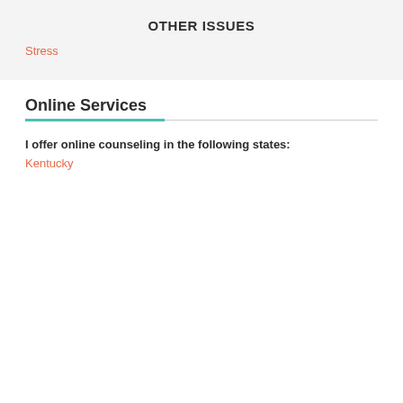OTHER ISSUES
Stress
Online Services
I offer online counseling in the following states:
Kentucky